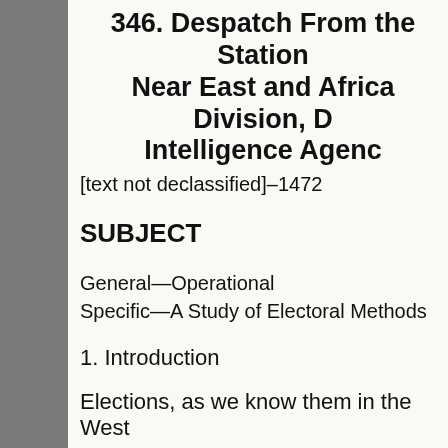346. Despatch From the Station Near East and Africa Division, D Intelligence Agenc
[text not declassified]–1472
SUBJECT
General—Operational
Specific—A Study of Electoral Methods
1. Introduction
Elections, as we know them in the West